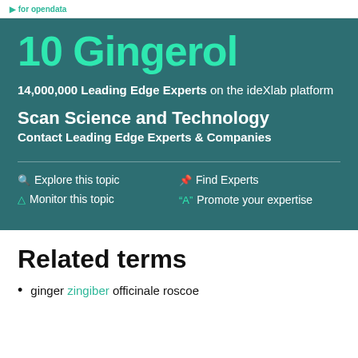for opendata
10 Gingerol
14,000,000 Leading Edge Experts on the ideXlab platform
Scan Science and Technology
Contact Leading Edge Experts & Companies
Explore this topic
Monitor this topic
Find Experts
Promote your expertise
Related terms
ginger zingiber officinale roscoe